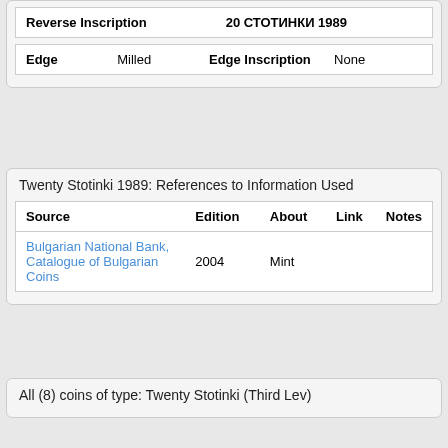| Reverse Inscription | 20 СТОТИНКИ 1989 |
| --- | --- |
| Edge | Milled | Edge Inscription | None |
| --- | --- | --- | --- |
Twenty Stotinki 1989: References to Information Used
| Source | Edition | About | Link | Notes |
| --- | --- | --- | --- | --- |
| Bulgarian National Bank, Catalogue of Bulgarian Coins | 2004 | Mint |  |  |
All (8) coins of type: Twenty Stotinki (Third Lev)